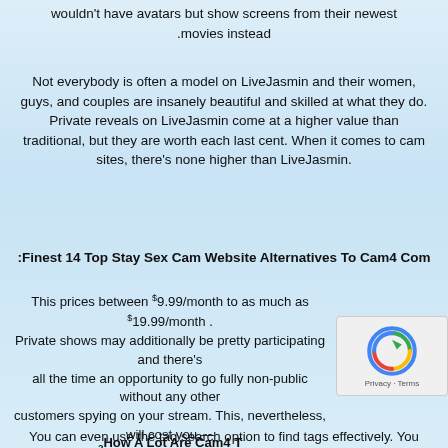wouldn't have avatars but show screens from their newest movies instead.
Not everybody is often a model on LiveJasmin and their women, guys, and couples are insanely beautiful and skilled at what they do. Private reveals on LiveJasmin come at a higher value than traditional, but they are worth each last cent. When it comes to cam sites, there's none higher than LiveJasmin.
Finest 14 Top Stay Sex Cam Website Alternatives To Cam4 Com:
This prices between $9.99/month to as much as $19.99/month. Private shows may additionally be pretty participating and there's all the time an opportunity to go fully non-public without any other customers spying on your stream. This, nevertheless, will cost you — just like pretty much another good performance on Cam4. On the other hand, if you're not willing to pay, webcam websites are probably not the best spot for you. If you do, Cam4 should not disappoint when it comes to equipment and mannequin experience. For starters, it doesn't even require a login and registration to sneak a peek at what's occurring on the location.
How A Lot Are Cam4 T?
You can even use the tag search option to find tags effectively. You